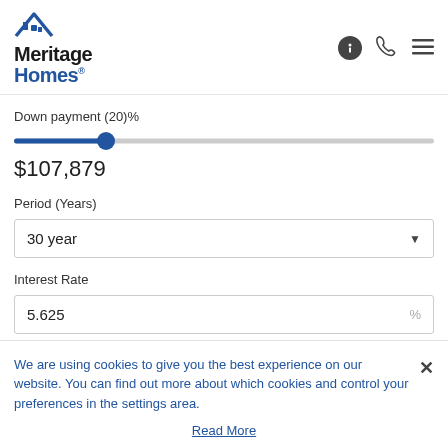[Figure (logo): Meritage Homes logo with house roofline icon]
Down payment (20)%
[Figure (infographic): Horizontal slider showing down payment at 20%, filled blue to about 22% of track]
$107,879
Period (Years)
30 year
Interest Rate
5.625
We are using cookies to give you the best experience on our website. You can find out more about which cookies and control your preferences in the settings area.
Read More